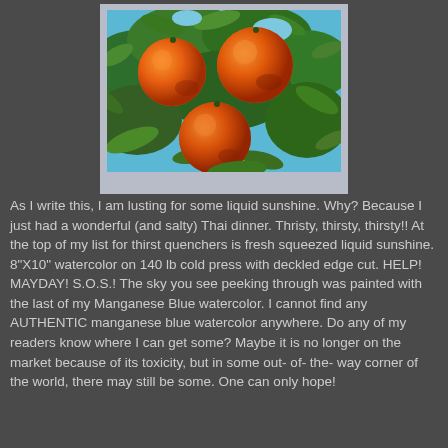[Figure (illustration): A painting of oranges/tangerines on branches with green leaves and a glimpse of blue sky, rendered in an impressionistic watercolor style. The painting is displayed with a light blue-grey mat/border.]
As I write this, I am lusting for some liquid sunshine. Why? Because I just had a wonderful (and salty) Thai dinner. Thristy, thirsty, thirsty!! At the top of my list for thirst quenchers is fresh squeezed liquid sunshine. 8"X10" watercolor on 140 lb cold press with deckled edge cut. HELP! MAYDAY! S.O.S.! The sky you see peeking through was painted with the last of my Manganese Blue watercolor. I cannot find any AUTHENTIC manganese blue watercolor anywhere. Do any of my readers know where I can get some? Maybe it is no longer on the market because of its toxicity, but in some out- of- the- way corner of the world, there may still be some. One can only hope!